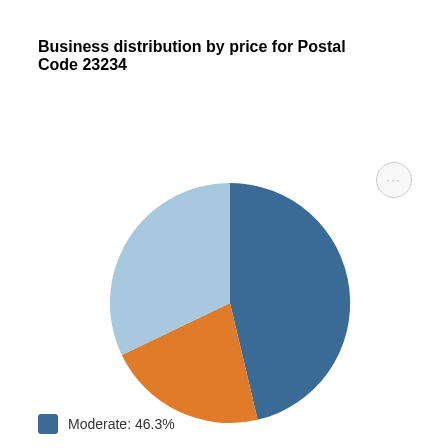Business distribution by price for Postal Code 23234
[Figure (pie-chart): Business distribution by price for Postal Code 23234]
Moderate: 46.3%